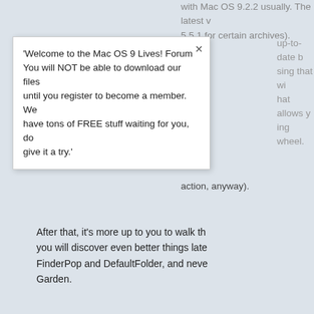with Mac OS 9.2.2 usually. The latest v... 5.5.1 for certain archives).
[Figure (screenshot): Popup/toast overlay with forum registration message: 'Welcome to the Mac OS 9 Lives! Forum... You will NOT be able to download our files until you register to become a member. We have tons of FREE stuff waiting for you, do give it a try.']
After that, it's more up to you to walk th... you will discover even better things late... FinderPop and DefaultFolder, and neve... Garden.
teroyk
Gold Member (200+ Posts)
Posts: 458
-
Liked:
Likes Given: 40
Re: New guy with an iBook "clamshell"
« Reply #8 on: May 24, 2022, 02:42:12 AM »
Quote from: Jubadub on May 24, 2022, 02:08:0...
- USB Overdrive 1.4, utility that allo... in Windows etc., plus the scrolling w... special action, anyway).